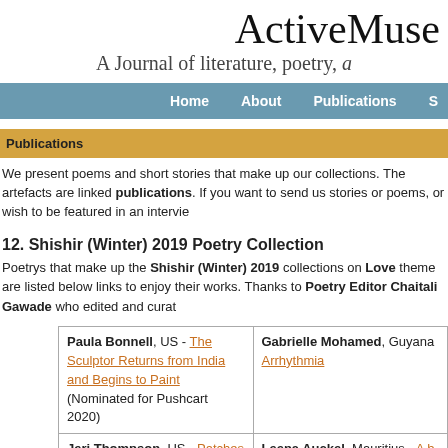ActiveMuse
A Journal of literature, poetry, ...
Home | About | Publications | S...
Publications
We present poems and short stories that make up our collections. The artefacts are linked publications. If you want to send us stories or poems, or wish to be featured in an interview...
12. Shishir (Winter) 2019 Poetry Collection
Poetrys that make up the Shishir (Winter) 2019 collections on Love theme are listed below links to enjoy their works. Thanks to Poetry Editor Chaitali Gawade who edited and curat...
| Author 1 | Author 2 |
| --- | --- |
| Paula Bonnell, US - The Sculptor Returns from India and Begins to Paint (Nominated for Pushcart 2020) | Gabrielle Mohamed, Guyana - Arrhythmia |
| Jeri Thompson, US - Patches | Leena Auckel, Mauritius - A b... that never fails short |
| Kalyani Bindu, India - Distractions from the Sun-Lit Corners of Love | Peter Clive, US - Snog me lo... |